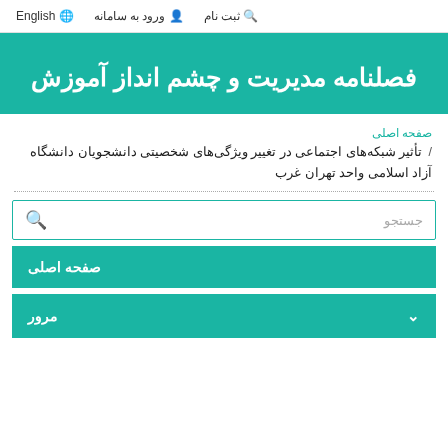English  ورود به سامانه  ثبت نام
فصلنامه مدیریت و چشم انداز آموزش
صفحه اصلی / تأثیر شبکه‌های اجتماعی در تغییر ویژگی‌های شخصیتی دانشجویان دانشگاه آزاد اسلامی واحد تهران غرب
جستجو
صفحه اصلی
مرور